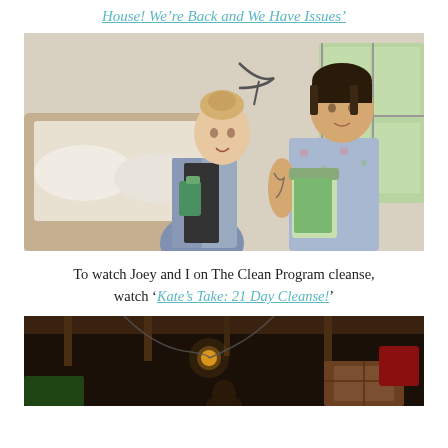House! We're Back and We Have Issues'
[Figure (photo): A young woman holding green smoothie cups and a young man holding a blender with green smoothie, standing in a bright bedroom with white bedding and a large window]
To watch Joey and I on The Clean Program cleanse, watch 'Kate's Take: 21 Day Cleanse!'
[Figure (photo): Dark interior scene, appears to be a basement or garage with wooden crates and dim lighting, a person partially visible]